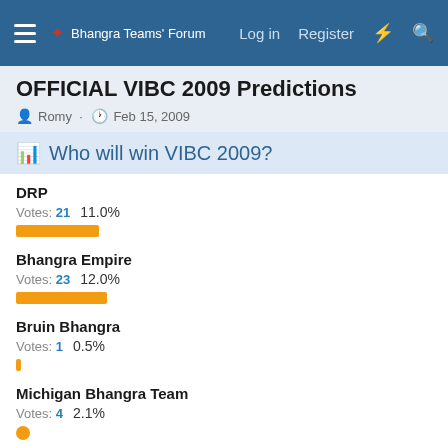Bhangra Teams' Forum — Log in  Register
OFFICIAL VIBC 2009 Predictions
Romy · Feb 15, 2009
Who will win VIBC 2009?
DRP — Votes: 21  11.0%
Bhangra Empire — Votes: 23  12.0%
Bruin Bhangra — Votes: 1  0.5%
Michigan Bhangra Team — Votes: 4  2.1%
VCU